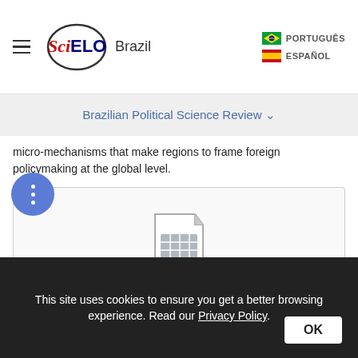SciELO Brazil | PORTUGUÊS | ESPAÑOL
Brazilian Political Science Review
micro-mechanisms that make regions to frame foreign policymaking at the global level.
[Figure (other): Placeholder document/table icon for Figure 01 with a zoom/search button in the bottom right corner.]
Figure 01
Regional and global levels and foreign policy
This site uses cookies to ensure you get a better browsing experience. Read our Privacy Policy.